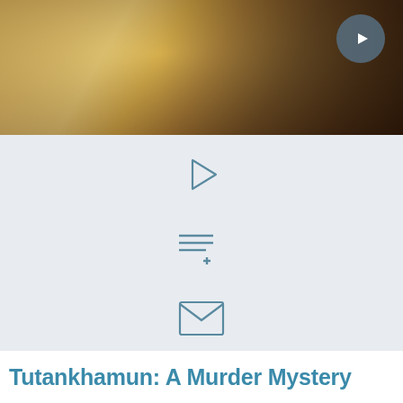[Figure (photo): Video thumbnail showing archaeological or artifact scene with warm golden/brown tones, with a circular play button in the top right corner]
[Figure (infographic): Light grey panel containing five vertically stacked icons: play triangle, add-to-playlist (lines with plus), email envelope, printer, and download arrow]
Tutankhamun: A Murder Mystery